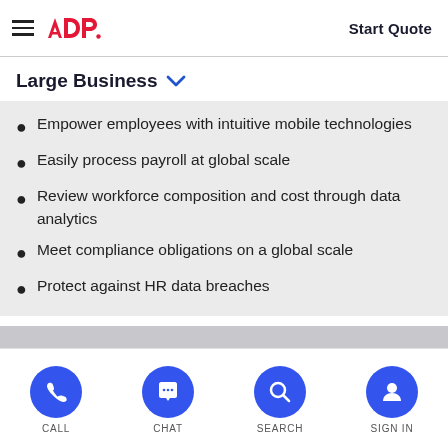ADP — Start Quote
Large Business
Empower employees with intuitive mobile technologies
Easily process payroll at global scale
Review workforce composition and cost through data analytics
Meet compliance obligations on a global scale
Protect against HR data breaches
CALL  CHAT  SEARCH  SIGN IN